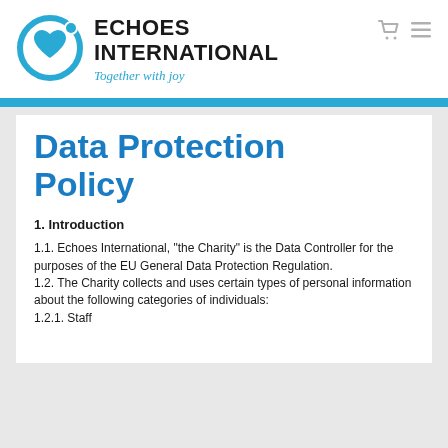[Figure (logo): Echoes International logo with circular icon containing a heart and speech bubble, company name in bold black text, tagline 'Together with joy' in italic blue]
Data Protection Policy
1. Introduction
1.1. Echoes International, "the Charity" is the Data Controller for the purposes of the EU General Data Protection Regulation.
1.2. The Charity collects and uses certain types of personal information about the following categories of individuals:
1.2.1. Staff